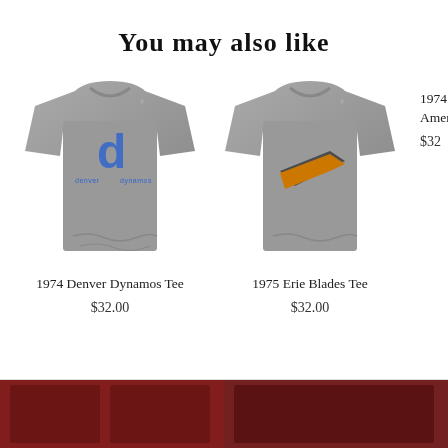You may also like
[Figure (photo): Gray t-shirt with Denver Dynamos blue logo design (stylized letter d with 'denver dynamos' text)]
1974 Denver Dynamos Tee
$32.00
[Figure (photo): Gray t-shirt with Erie Blades logo featuring an angular skate blade design in orange and dark colors]
1975 Erie Blades Tee
$32.00
1974 Birmingham Americans
$32
[Figure (photo): Partial view of product images at the bottom of the page, partially cropped]
[Figure (photo): Partial view of product image at bottom right, partially cropped]